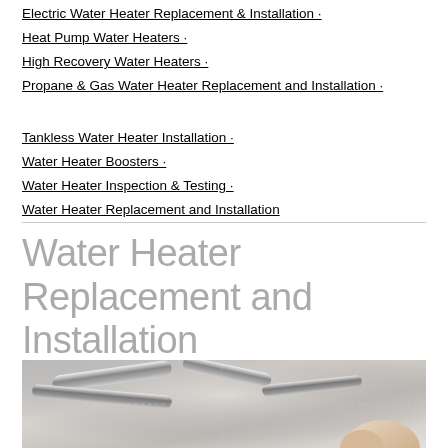Electric Water Heater Replacement & Installation ·
Heat Pump Water Heaters ·
High Recovery Water Heaters ·
Propane & Gas Water Heater Replacement and Installation ·
Tankless Water Heater Installation ·
Water Heater Boosters ·
Water Heater Inspection & Testing ·
Water Heater Replacement and Installation
Water Heater Replacement and Installation
[Figure (photo): Close-up photo of plumbing pipes and fittings, with a hand visible at the bottom right, suggesting water heater installation work]